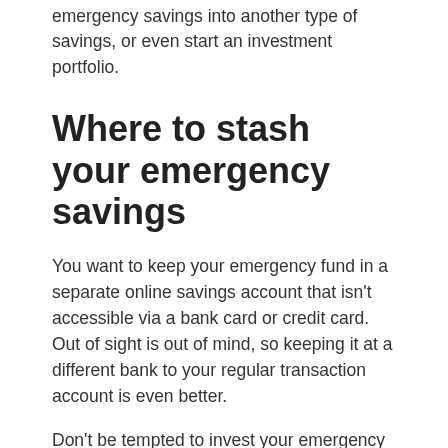emergency savings into another type of savings, or even start an investment portfolio.
Where to stash your emergency savings
You want to keep your emergency fund in a separate online savings account that isn't accessible via a bank card or credit card. Out of sight is out of mind, so keeping it at a different bank to your regular transaction account is even better.
Don't be tempted to invest your emergency savings. Investments by their nature increase and decrease in value over time. The last thing you want is to find yourself in a situation where you're forced to sell down your investment at a loss, just so you can get access to your emergency funds.